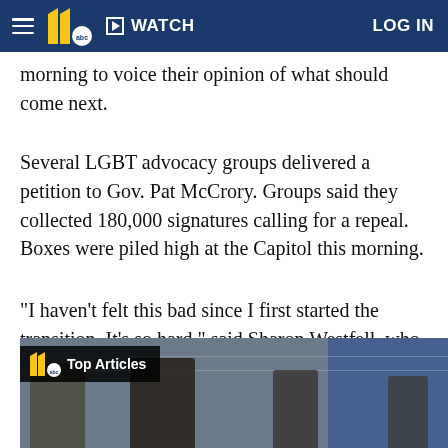WATCH | LOG IN
morning to voice their opinion of what should come next.
Several LGBT advocacy groups delivered a petition to Gov. Pat McCrory. Groups said they collected 180,000 signatures calling for a repeal. Boxes were piled high at the Capitol this morning.
"I haven't felt this bad since I first started the transition. It's so hard," said Sharon Westfell, who is a transgender woman living in Chapel Hill.
[Figure (photo): Video still showing people with 'Top Articles' overlay bar with WTVD 11 ABC logo]